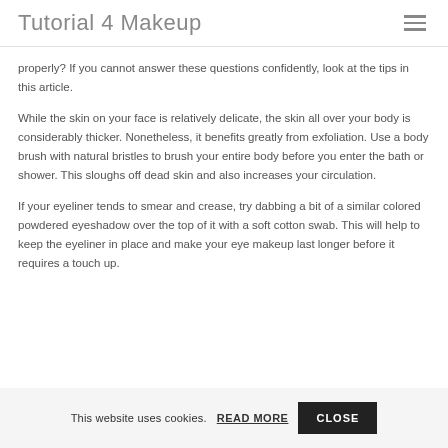Tutorial 4 Makeup
properly? If you cannot answer these questions confidently, look at the tips in this article.
While the skin on your face is relatively delicate, the skin all over your body is considerably thicker. Nonetheless, it benefits greatly from exfoliation. Use a body brush with natural bristles to brush your entire body before you enter the bath or shower. This sloughs off dead skin and also increases your circulation.
If your eyeliner tends to smear and crease, try dabbing a bit of a similar colored powdered eyeshadow over the top of it with a soft cotton swab. This will help to keep the eyeliner in place and make your eye makeup last longer before it requires a touch up.
This website uses cookies. READ MORE CLOSE